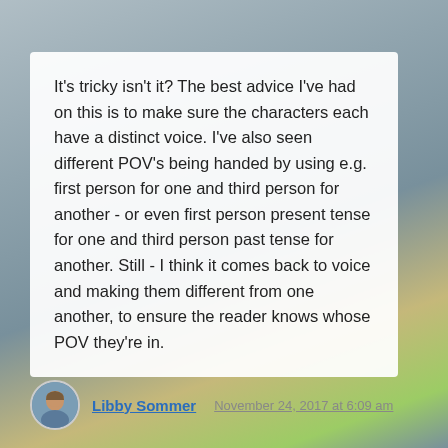It's tricky isn't it? The best advice I've had on this is to make sure the characters each have a distinct voice. I've also seen different POV's being handed by using e.g. first person for one and third person for another - or even first person present tense for one and third person past tense for another. Still - I think it comes back to voice and making them different from one another, to ensure the reader knows whose POV they're in.
Libby Sommer
November 24, 2017 at 6:09 am